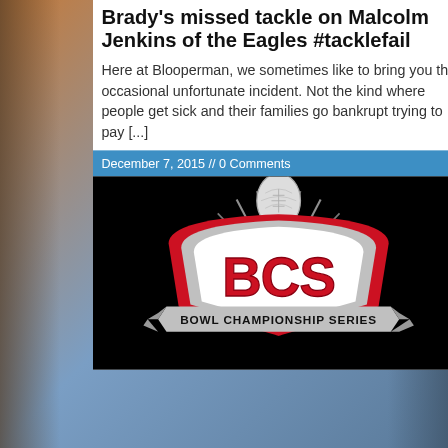Brady's missed tackle on Malcolm Jenkins of the Eagles #tacklefail
Here at Blooperman, we sometimes like to bring you the occasional unfortunate incident. Not the kind where people get sick and their families go bankrupt trying to pay [...]
December 7, 2015 // 0 Comments
[Figure (logo): BCS Bowl Championship Series logo on black background]